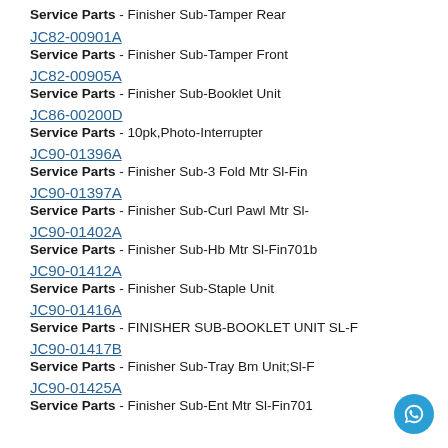Service Parts - Finisher Sub-Tamper Rear
JC82-00901A
Service Parts - Finisher Sub-Tamper Front
JC82-00905A
Service Parts - Finisher Sub-Booklet Unit
JC86-00200D
Service Parts - 10pk,Photo-Interrupter
JC90-01396A
Service Parts - Finisher Sub-3 Fold Mtr Sl-Fin
JC90-01397A
Service Parts - Finisher Sub-Curl Pawl Mtr Sl-
JC90-01402A
Service Parts - Finisher Sub-Hb Mtr Sl-Fin701b
JC90-01412A
Service Parts - Finisher Sub-Staple Unit
JC90-01416A
Service Parts - FINISHER SUB-BOOKLET UNIT SL-F
JC90-01417B
Service Parts - Finisher Sub-Tray Bm Unit;Sl-F
JC90-01425A
Service Parts - Finisher Sub-Ent Mtr Sl-Fin701